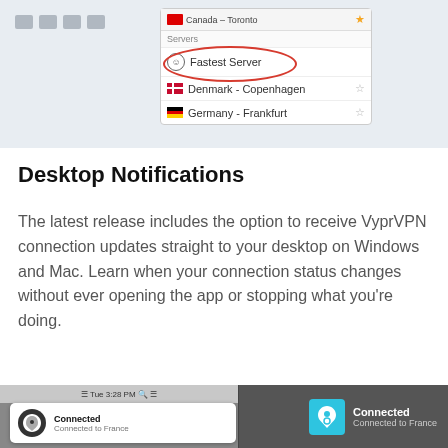[Figure (screenshot): VyprVPN desktop app interface showing server list with 'Fastest Server' highlighted in a red oval, Denmark-Copenhagen, and Germany-Frankfurt options listed]
Desktop Notifications
The latest release includes the option to receive VyprVPN connection updates straight to your desktop on Windows and Mac. Learn when your connection status changes without ever opening the app or stopping what you’re doing.
[Figure (screenshot): Two desktop notification examples: Mac OS X notification showing 'Connected - Connected to France' and Windows notification showing 'Connected - Connected to France']